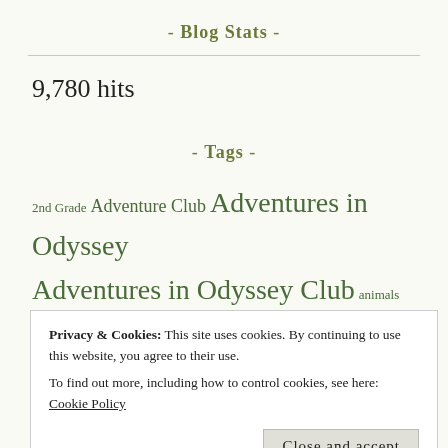- Blog Stats -
9,780 hits
- Tags -
2nd Grade Adventure Club Adventures in Odyssey Adventures in Odyssey Club animals art Beyond Little ...
Privacy & Cookies: This site uses cookies. By continuing to use this website, you agree to their use. To find out more, including how to control cookies, see here: Cookie Policy
Close and accept
Christmas Computers crafts Creation Resources Creation to Christ